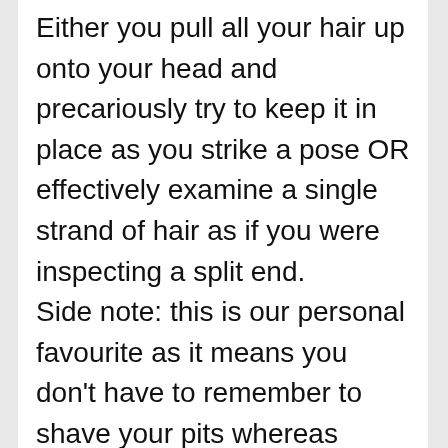Either you pull all your hair up onto your head and precariously try to keep it in place as you strike a pose OR effectively examine a single strand of hair as if you were inspecting a split end.
Side note: this is our personal favourite as it means you don't have to remember to shave your pits whereas piling your hair on top of your head leaves them totally exposed.